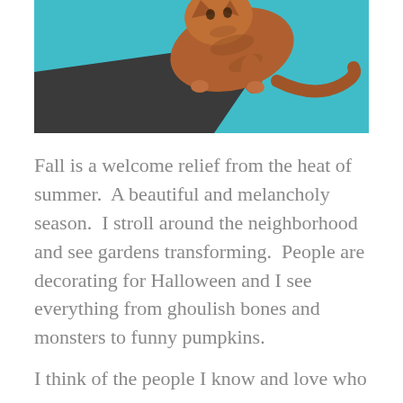[Figure (photo): Orange tabby cat photographed from above, standing on a surface with teal/cyan blue background and dark gray/black mat visible in lower left. Cat's fur is brownish-orange with tabby striping.]
Fall is a welcome relief from the heat of summer.  A beautiful and melancholy season.  I stroll around the neighborhood and see gardens transforming.  People are decorating for Halloween and I see everything from ghoulish bones and monsters to funny pumpkins.
I think of the people I know and love who